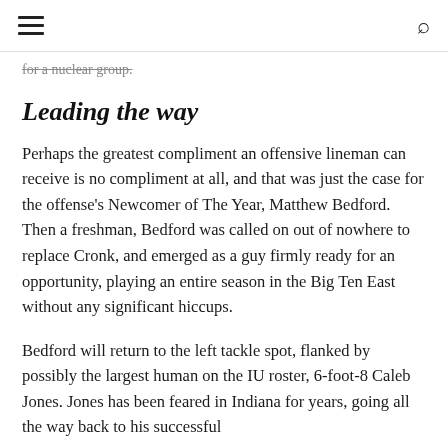≡  🔍
for a nuclear group.
Leading the way
Perhaps the greatest compliment an offensive lineman can receive is no compliment at all, and that was just the case for the offense's Newcomer of The Year, Matthew Bedford. Then a freshman, Bedford was called on out of nowhere to replace Cronk, and emerged as a guy firmly ready for an opportunity, playing an entire season in the Big Ten East without any significant hiccups.
Bedford will return to the left tackle spot, flanked by possibly the largest human on the IU roster, 6-foot-8 Caleb Jones. Jones has been feared in Indiana for years, going all the way back to his successful